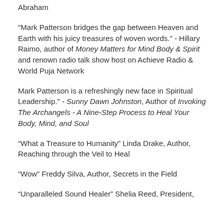Abraham
"Mark Patterson bridges the gap between Heaven and Earth with his juicy treasures of woven words." - Hillary Raimo, author of Money Matters for Mind Body & Spirit and renown radio talk show host on Achieve Radio & World Puja Network
Mark Patterson is a refreshingly new face in Spiritual Leadership." - Sunny Dawn Johnston, Author of Invoking The Archangels - A Nine-Step Process to Heal Your Body, Mind, and Soul
“What a Treasure to Humanity” Linda Drake, Author, Reaching through the Veil to Heal
“Wow” Freddy Silva, Author, Secrets in the Field
“Unparalleled Sound Healer” Shelia Reed, President,